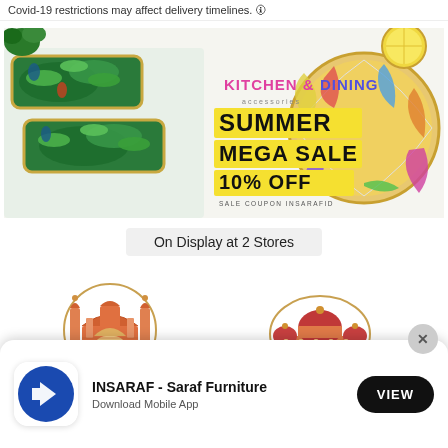Covid-19 restrictions may affect delivery timelines.
[Figure (illustration): Kitchen & Dining accessories Summer Mega Sale 10% Off banner with tropical plates and colorful dishware. Sale coupon INSARAFID.]
On Display at 2 Stores
[Figure (illustration): Illustration of Gateway of India landmark icon in orange and teal]
[Figure (illustration): Illustration of a domed building landmark icon in orange and red]
[Figure (illustration): App install banner - INSARAF Saraf Furniture app logo (blue circle with white arrow), text: INSARAF - Saraf Furniture, Download Mobile App, VIEW button]
INSARAF - Saraf Furniture
Download Mobile App